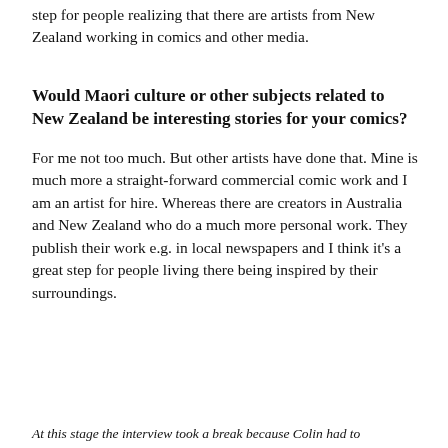step for people realizing that there are artists from New Zealand working in comics and other media.
Would Maori culture or other subjects related to New Zealand be interesting stories for your comics?
For me not too much. But other artists have done that. Mine is much more a straight-forward commercial comic work and I am an artist for hire. Whereas there are creators in Australia and New Zealand who do a much more personal work. They publish their work e.g. in local newspapers and I think it’s a great step for people living there being inspired by their surroundings.
At this stage the interview took a break because Colin had to